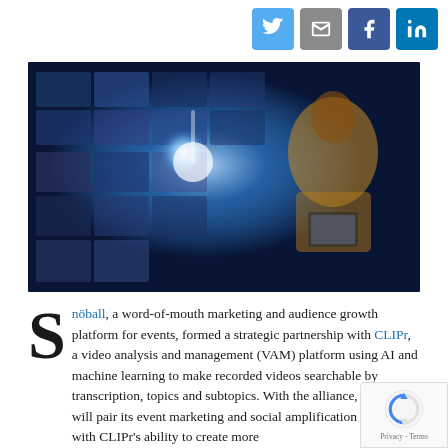[Figure (other): Social media sharing icons row: Twitter (blue), Email (gray), Facebook (blue), LinkedIn (blue)]
[Figure (photo): Woman in yellow sweater holding a tablet and touching a glowing digital media wall with many video thumbnails, dark blue/digital background]
Snöball, a word-of-mouth marketing and audience growth platform for events, formed a strategic partnership with CLIPr, a video analysis and management (VAM) platform using AI and machine learning to make recorded videos searchable by transcription, topics and subtopics. With the alliance, Snöball will pair its event marketing and social amplification expertise with CLIPr's ability to create more